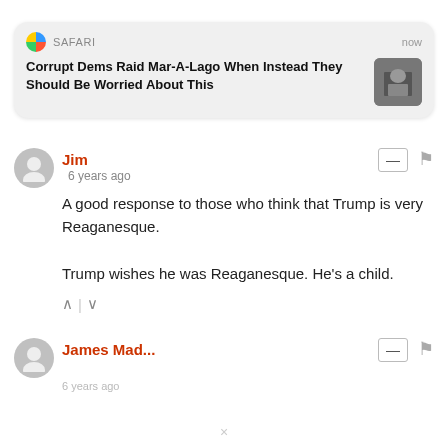[Figure (screenshot): Safari browser push notification card showing headline: 'Corrupt Dems Raid Mar-A-Lago When Instead They Should Be Worried About This' with a thumbnail image of a man in a suit, labeled 'SAFARI' with timestamp 'now']
Jim
6 years ago
A good response to those who think that Trump is very Reaganesque.

Trump wishes he was Reaganesque. He's a child.
James Mad...
6 years ago